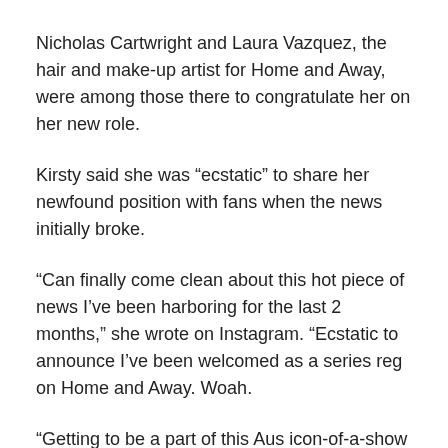Nicholas Cartwright and Laura Vazquez, the hair and make-up artist for Home and Away, were among those there to congratulate her on her new role.
Kirsty said she was “ecstatic” to share her newfound position with fans when the news initially broke.
“Can finally come clean about this hot piece of news I’ve been harboring for the last 2 months,” she wrote on Instagram. “Ecstatic to announce I’ve been welcomed as a series reg on Home and Away. Woah.
“Getting to be a part of this Aus icon-of-a-show is a bit wild. It’s been a gorg 6 weeks of shooting as I embrace the bay as a new resident brown girl, Rose.”
After she arrives up unexpectedly with her brother Xander,